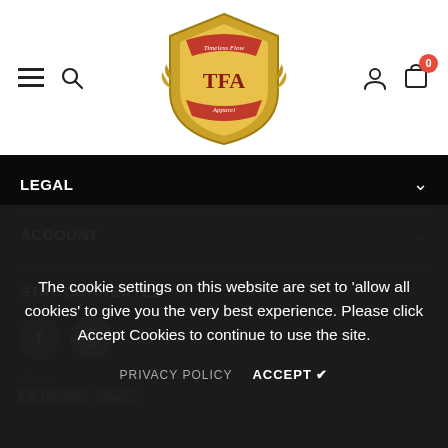[Figure (logo): TFA (Timeless Flow Apparel) shield logo in gold and red with laurel wreath]
LEGAL
ACCOUNT
STAY CONNECTED
[Figure (infographic): Social media icons: Facebook (f) and Instagram circles]
The cookie settings on this website are set to 'allow all cookies' to give you the very best experience. Please click Accept Cookies to continue to use the site.
PRIVACY POLICY   ACCEPT ✔